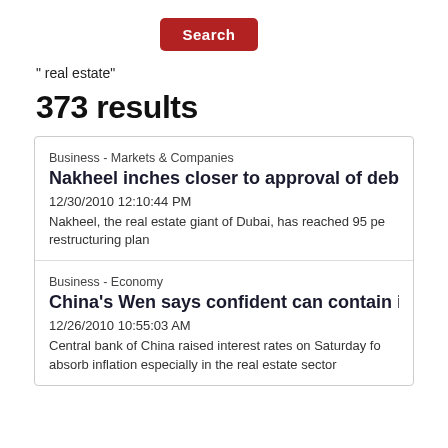[Figure (screenshot): Red Search button]
" real estate"
373 results
Business - Markets & Companies
Nakheel inches closer to approval of debt
12/30/2010 12:10:44 PM
Nakheel, the real estate giant of Dubai, has reached 95 pe... restructuring plan
Business - Economy
China's Wen says confident can contain in
12/26/2010 10:55:03 AM
Central bank of China raised interest rates on Saturday fo... absorb inflation especially in the real estate sector